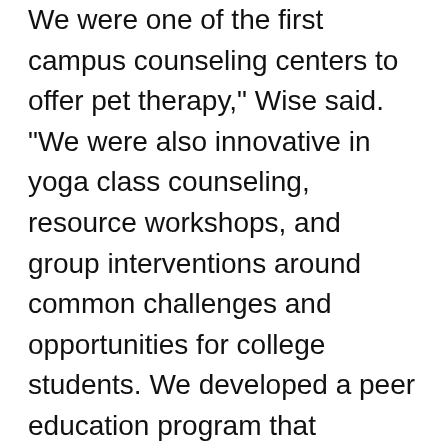We were one of the first campus counseling centers to offer pet therapy," Wise said. "We were also innovative in yoga class counseling, resource workshops, and group interventions around common challenges and opportunities for college students. We developed a peer education program that provided outreach to the entire student body and more targeted outreach to specific communities. But the one thing that will always make Cook Counseling Center the best in my eyes, is the people who work there. They care so deeply for our students and put others first in multiple ways to help